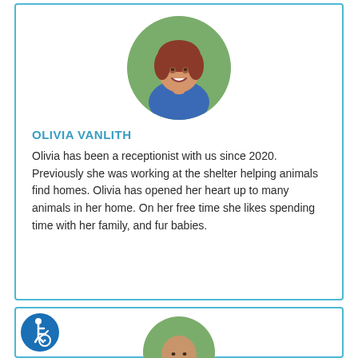[Figure (photo): Circular portrait photo of Olivia Vanlith, a young woman with reddish-brown hair, smiling, wearing a blue top, outdoors with green background]
OLIVIA VANLITH
Olivia has been a receptionist with us since 2020. Previously she was working at the shelter helping animals find homes. Olivia has opened her heart up to many animals in her home. On her free time she likes spending time with her family, and fur babies.
[Figure (photo): Circular portrait photo of a bald man with a slight beard, smiling, wearing a blue shirt, outdoors with green background]
[Figure (illustration): Wheelchair accessibility icon — blue circle with white wheelchair user symbol]